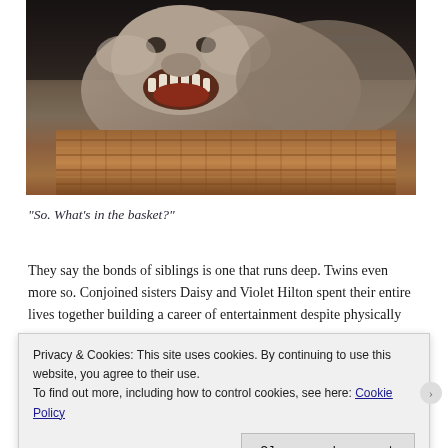[Figure (photo): A creature (possibly a movie monster or puppet) with an open mouth showing teeth, sitting in or peering over a wicker basket. Dark background.]
“So. What’s in the basket?”
They say the bonds of siblings is one that runs deep. Twins even more so. Conjoined sisters Daisy and Violet Hilton spent their entire lives together building a career of entertainment despite physically
Privacy & Cookies: This site uses cookies. By continuing to use this website, you agree to their use.
To find out more, including how to control cookies, see here: Cookie Policy
Close and accept